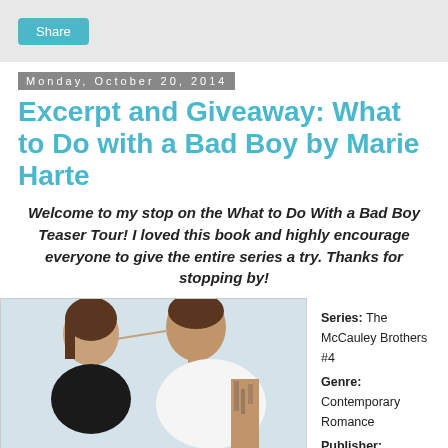Share
Monday, October 20, 2014
Excerpt and Giveaway: What to Do with a Bad Boy by Marie Harte
Welcome to my stop on the What to Do With a Bad Boy Teaser Tour! I loved this book and highly encourage everyone to give the entire series a try. Thanks for stopping by!
[Figure (photo): Close-up photograph of a man and woman in an intimate pose; man has tattoos on his arm.]
Series: The McCauley Brothers #4
Genre: Contemporary Romance
Publisher: Sourcebooks